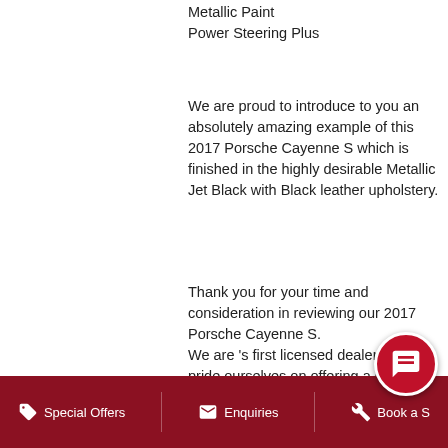Metallic Paint
Power Steering Plus
We are proud to introduce to you an absolutely amazing example of this 2017 Porsche Cayenne S which is finished in the highly desirable Metallic Jet Black with Black leather upholstery.
Thank you for your time and consideration in reviewing our 2017 Porsche Cayenne S.
We are 's first licensed dealer and pride ourselves on offering a great customer experience when buying a car, servicing a car or even selling us your car.
A family run business for over 50 years we are authorised dealers for Porsche
– Alfa Romeo
Special Offers   Enquiries   Book a S